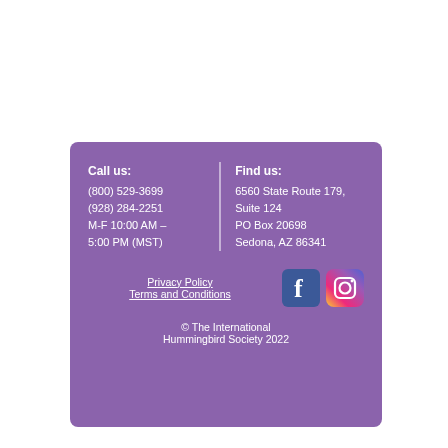Call us:
(800) 529-3699
(928) 284-2251
M-F 10:00 AM – 5:00 PM (MST)
Find us:
6560 State Route 179, Suite 124
PO Box 20698
Sedona, AZ 86341
Privacy Policy
Terms and Conditions
[Figure (logo): Facebook and Instagram social media icons]
© The International Hummingbird Society 2022